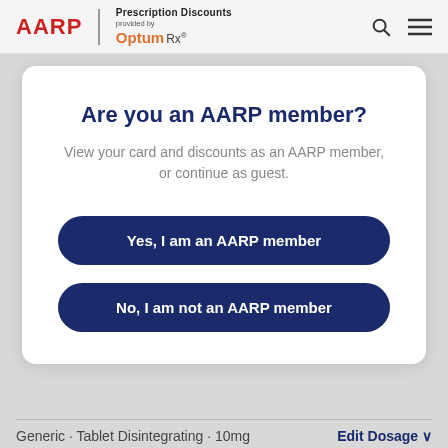AARP Prescription Discounts provided by Optum Rx
Are you an AARP member?
View your card and discounts as an AARP member, or continue as guest.
Yes, I am an AARP member
No, I am not an AARP member
Generic · Tablet Disintegrating · 10mg
Edit Dosage